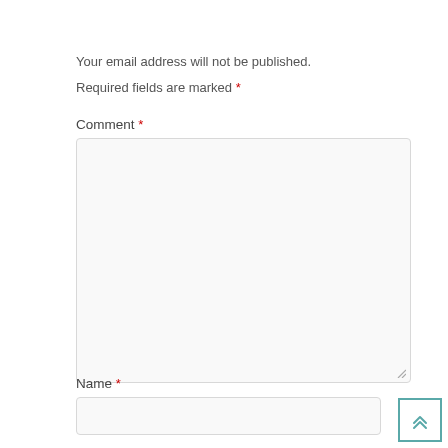Your email address will not be published.
Required fields are marked *
Comment *
[Figure (other): Empty comment textarea input box with light gray border and resize handle]
Name *
[Figure (other): Empty name text input box with light gray border]
[Figure (other): Scroll to top button with double chevron up arrow, teal border]